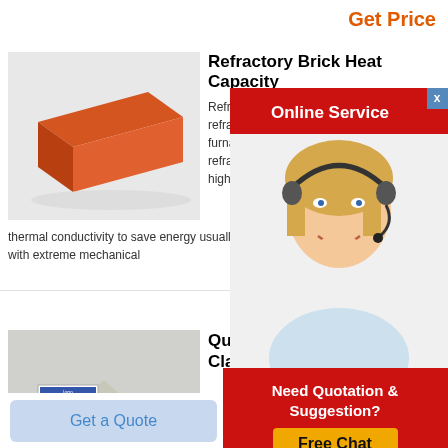Get Price
Refractory Brick Heat Capacity
[Figure (photo): Photo of an orange/red refractory brick]
Refractory fire brick refractory ceramic m furnaces kilns firebo refractory brick is d high heat but shoul thermal conductivity to save energy usually dense bric with extreme mechanical
[Figure (illustration): Online Service popup with agent photo — woman with headset on red background]
[Figure (photo): Photo of gray fire clay/powder material]
Quality Fire P Clay Bricks F
0 8g/cm3 jm 26 insulating fire brick heat storage thermal shock stability standard insulating high alumina brick low thermal conductivity heat resistant bricks light weight
[Figure (infographic): Need Quotation & Suggestion? Free Chat popup on red background with yellow button]
Get a Quote
Chat Now